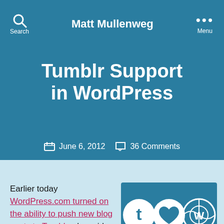Matt Mullenweg
Tumblr Support in WordPress
June 6, 2012   36 Comments
Earlier today WordPress.com turned on the ability to push new blog posts to Tumblr, alongside the
[Figure (illustration): Icons showing Tumblr logo (t), heart, and WordPress logo (W) on a blue background]